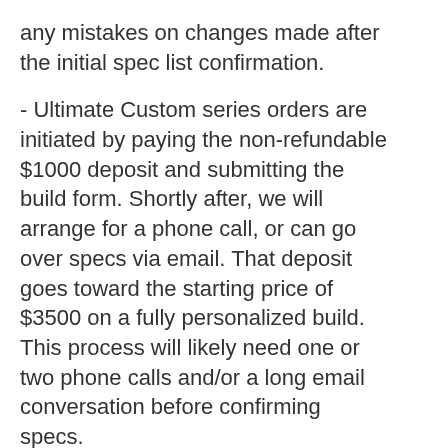any mistakes on changes made after the initial spec list confirmation.
- Ultimate Custom series orders are initiated by paying the non-refundable $1000 deposit and submitting the build form. Shortly after, we will arrange for a phone call, or can go over specs via email. That deposit goes toward the starting price of $3500 on a fully personalized build. This process will likely need one or two phone calls and/or a long email conversation before confirming specs.
- If you absolutely need this instrument by a specific date, DON'T place a custom order. Check out our list of dealers to see what's in stock now! Nothing makes the build process less enjoyable for us than feeling rushed, and a hastily made instrument is never the best one.